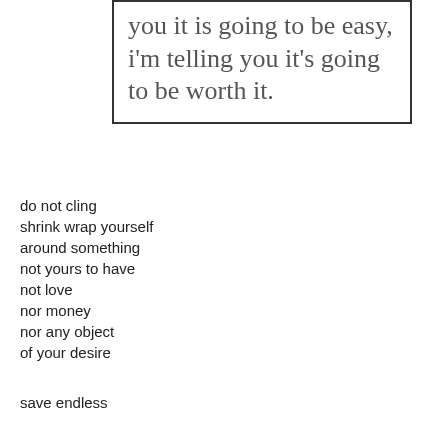[Figure (other): Bordered text box containing a quote in large gray serif font: 'you it is going to be easy, i'm telling you it's going to be worth it.']
do not cling
shrink wrap yourself
around something
not yours to have
not love
nor money
nor any object
of your desire
save endless